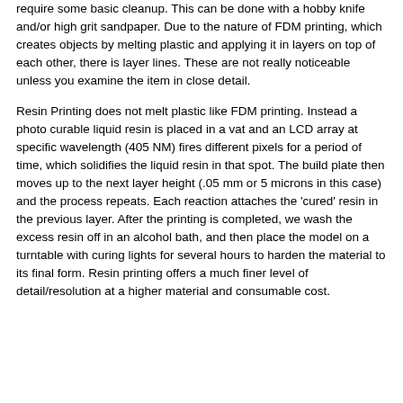require some basic cleanup. This can be done with a hobby knife and/or high grit sandpaper. Due to the nature of FDM printing, which creates objects by melting plastic and applying it in layers on top of each other, there is layer lines. These are not really noticeable unless you examine the item in close detail.
Resin Printing does not melt plastic like FDM printing. Instead a photo curable liquid resin is placed in a vat and an LCD array at specific wavelength (405 NM) fires different pixels for a period of time, which solidifies the liquid resin in that spot. The build plate then moves up to the next layer height (.05 mm or 5 microns in this case) and the process repeats. Each reaction attaches the 'cured' resin in the previous layer. After the printing is completed, we wash the excess resin off in an alcohol bath, and then place the model on a turntable with curing lights for several hours to harden the material to its final form. Resin printing offers a much finer level of detail/resolution at a higher material and consumable cost.